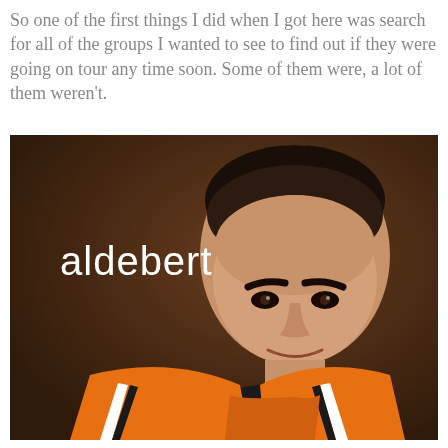So one of the first things I did when I got here was search for all of the groups I wanted to see to find out if they were going on tour any time soon. Some of them were, a lot of them weren't.
[Figure (photo): Album cover or promotional photo of Aldebert — a man with a shaved head wearing an orange tracksuit jacket with white and black stripes, smiling slightly against a dark brown background. The text 'aldebert' appears in white lowercase letters on the left side of the image.]